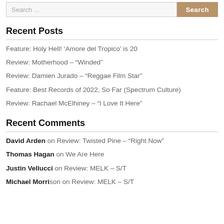[Figure (other): Search bar with text input and Search button]
Recent Posts
Feature: Holy Hell! ‘Amore del Tropico’ is 20
Review: Motherhood – “Winded”
Review: Damien Jurado – “Reggae Film Star”
Feature: Best Records of 2022, So Far (Spectrum Culture)
Review: Rachael McElhiney – “I Love It Here”
Recent Comments
David Arden on Review: Twisted Pine – “Right Now”
Thomas Hagan on We Are Here
Justin Vellucci on Review: MELK – S/T
Michael Morrison on Review: MELK – S/T